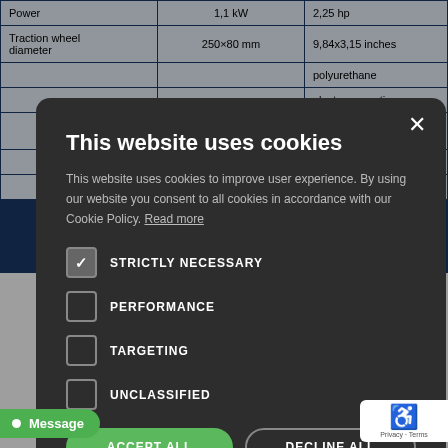|  |  |  |
| --- | --- | --- |
| Power | 1,1 kW | 2,25 hp |
| Traction wheel diameter | 250×80 mm | 9,84x3,15 inches |
|  | polyurethane |  |
|  | electromagnetic |  |
|  | ydraulic levers stributors |  |
|  | 32 gal/min |  |
|  | 59 gal |  |
[Figure (screenshot): Cookie consent modal overlay on top of a product specifications table. Modal has dark background with title 'This website uses cookies', body text, checkboxes for STRICTLY NECESSARY (checked), PERFORMANCE, TARGETING, UNCLASSIFIED, and buttons ACCEPT ALL and DECLINE ALL.]
This website uses cookies
This website uses cookies to improve user experience. By using our website you consent to all cookies in accordance with our Cookie Policy. Read more
STRICTLY NECESSARY
PERFORMANCE
TARGETING
UNCLASSIFIED
ACCEPT ALL
DECLINE ALL
SHOW DETAILS
Message
Privacy · Terms